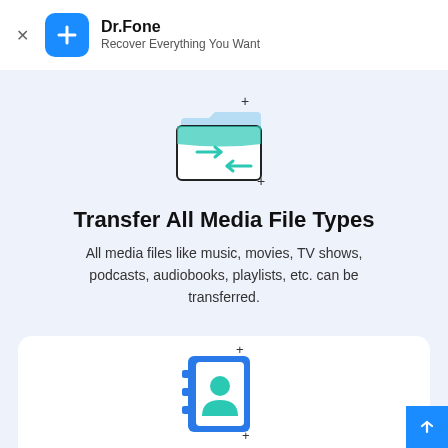Dr.Fone — Recover Everything You Want
[Figure (illustration): Folder icon with transfer arrows and a plus sign, in blue/teal color scheme]
Transfer All Media File Types
All media files like music, movies, TV shows, podcasts, audiobooks, playlists, etc. can be transferred.
More Features for You
[Figure (illustration): Contact/address book icon with a person silhouette in blue and green, plus sign top-right]